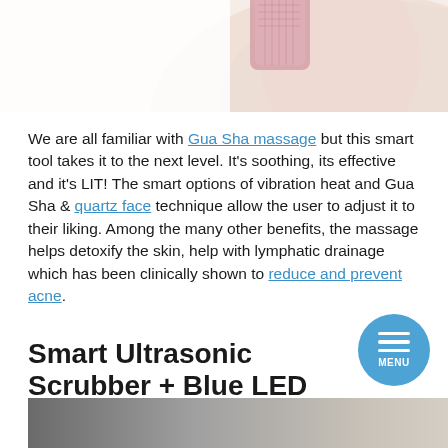[Figure (photo): Top portion of a person's neck/shoulder area with a pink Gua Sha tool, cropped photo at the top of the page]
We are all familiar with Gua Sha massage but this smart tool takes it to the next level. It's soothing, its effective and it's LIT! The smart options of vibration heat and Gua Sha & quartz face technique allow the user to adjust it to their liking. Among the many other benefits, the massage helps detoxify the skin, help with lymphatic drainage which has been clinically shown to reduce and prevent acne.
Smart Ultrasonic Scrubber + Blue LED
[Figure (photo): Bottom portion showing a dark-to-light gradient product image, partially visible at the bottom of the page]